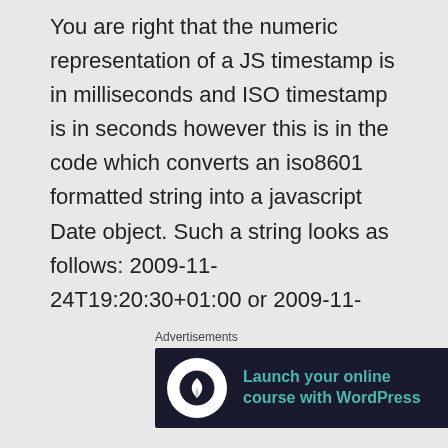You are right that the numeric representation of a JS timestamp is in milliseconds and ISO timestamp is in seconds however this is in the code which converts an iso8601 formatted string into a javascript Date object. Such a string looks as follows: 2009-11-24T19:20:30+01:00 or 2009-11-
Advertisements
[Figure (infographic): Advertisement banner: 'Launch your online course with WordPress' with a Learn More button on a dark navy background with a white circular icon.]